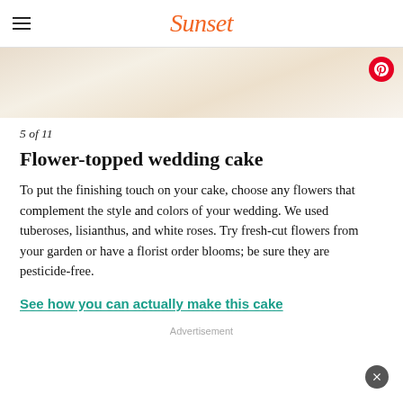Sunset
[Figure (photo): Partial view of a white frosted wedding cake, close-up]
5 of 11
Flower-topped wedding cake
To put the finishing touch on your cake, choose any flowers that complement the style and colors of your wedding. We used tuberoses, lisianthus, and white roses. Try fresh-cut flowers from your garden or have a florist order blooms; be sure they are pesticide-free.
See how you can actually make this cake
Advertisement